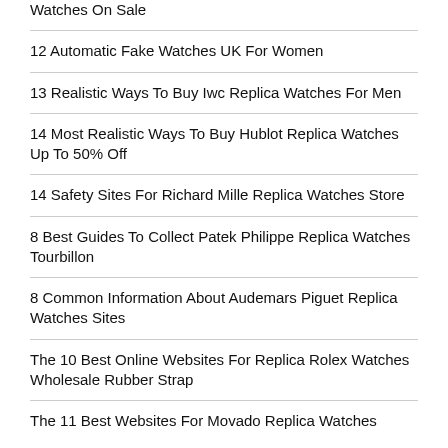Watches On Sale
12 Automatic Fake Watches UK For Women
13 Realistic Ways To Buy Iwc Replica Watches For Men
14 Most Realistic Ways To Buy Hublot Replica Watches Up To 50% Off
14 Safety Sites For Richard Mille Replica Watches Store
8 Best Guides To Collect Patek Philippe Replica Watches Tourbillon
8 Common Information About Audemars Piguet Replica Watches Sites
The 10 Best Online Websites For Replica Rolex Watches Wholesale Rubber Strap
The 11 Best Websites For Movado Replica Watches